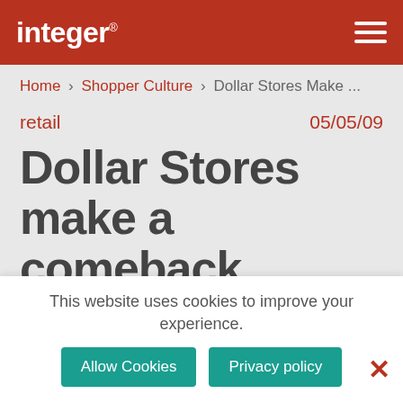integer
Home › Shopper Culture › Dollar Stores Make ...
retail    05/05/09
Dollar Stores make a comeback
ShopperCulture.com recently published a post on who's up and who's
This website uses cookies to improve your experience.